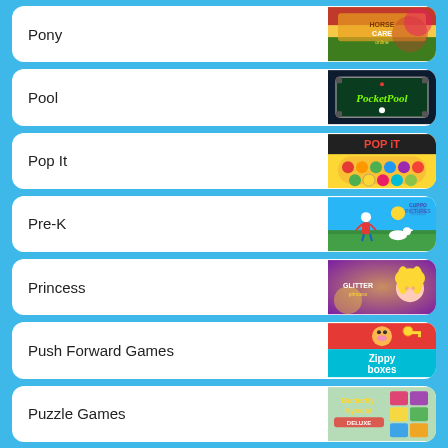Pony
[Figure (screenshot): Horse Care game thumbnail - colorful game art with horse and girl character]
Pool
[Figure (screenshot): Pocket Pool game thumbnail - dark background billiards table logo]
Pop It
[Figure (screenshot): Pop It Master game thumbnail - colorful pop it toy game art]
Pre-K
[Figure (screenshot): Pre-K game thumbnail - cartoon dog and character on grass with sky]
Princess
[Figure (screenshot): Princess Glitter game thumbnail - blonde princess with glitter background]
Push Forward Games
[Figure (screenshot): Push Forward / Zippy Boxes game thumbnail - red background with pig character and teal Zippy Boxes text]
Puzzle Games
[Figure (screenshot): Butterfly Kyodai Deluxe game thumbnail - butterfly matching puzzle game]